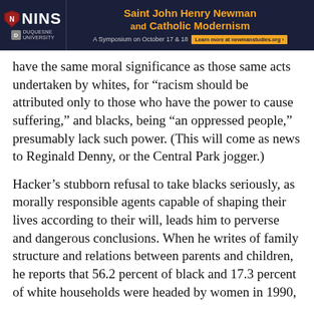[Figure (other): Advertisement banner for NINS (Newman Institute for Newman Studies) at Duquesne University. Title reads: Saint John Henry Newman and Catholic Modernism. A Symposium on October 17 & 18. Learn more at newmanstudies.org]
have the same moral significance as those same acts undertaken by whites, for “racism should be attributed only to those who have the power to cause suffering,” and blacks, being “an oppressed people,” presumably lack such power. (This will come as news to Reginald Denny, or the Central Park jogger.)
Hacker’s stubborn refusal to take blacks seriously, as morally responsible agents capable of shaping their lives according to their will, leads him to perverse and dangerous conclusions. When he writes of family structure and relations between parents and children, he reports that 56.2 percent of black and 17.3 percent of white households were headed by women in 1990,